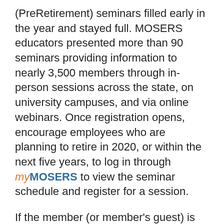(PreRetirement) seminars filled early in the year and stayed full. MOSERS educators presented more than 90 seminars providing information to nearly 3,500 members through in-person sessions across the state, on university campuses, and via online webinars. Once registration opens, encourage employees who are planning to retire in 2020, or within the next five years, to log in through myMOSERS to view the seminar schedule and register for a session.
If the member (or member's guest) is unable to attend after registering, they should contact MOSERS as soon as possible at (800) 827-1063, to cancel and/or reschedule. This will allow us to provide an accurate headcount to the caterer, venue, etc., and contact members who may be on a waiting list to attend.
Also, remember that all HR representatives are encouraged to attend a seminar at any stage in their